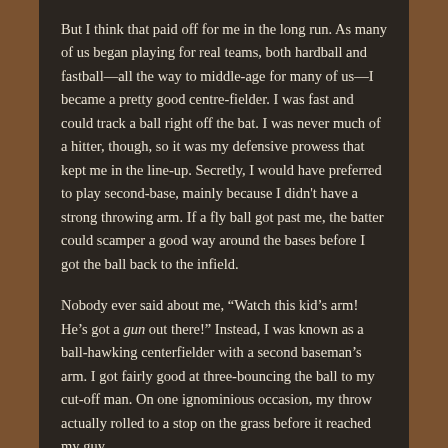But I think that paid off for me in the long run.  As many of us began playing for real teams, both hardball and fastball—all the way to middle-age for many of us—I became a pretty good centre-fielder.  I was fast and could track a ball right off the bat.  I was never much of a hitter, though, so it was my defensive prowess that kept me in the line-up.  Secretly, I would have preferred to play second-base, mainly because I didn't have a strong throwing arm.  If a fly ball got past me, the batter could scamper a good way around the bases before I got the ball back to the infield.
Nobody ever said about me, “Watch this kid’s arm!  He’s got a gun out there!”  Instead, I was known as a ball-hawking centerfielder with a second baseman’s arm.  I got fairly good at three-bouncing the ball to my cut-off man.  On one ignominious occasion, my throw actually rolled to a stop on the grass before it reached my guy.
But as I said earlier, it’s been a long time since I threw a baseball anywhere.  The teammates I once played with are